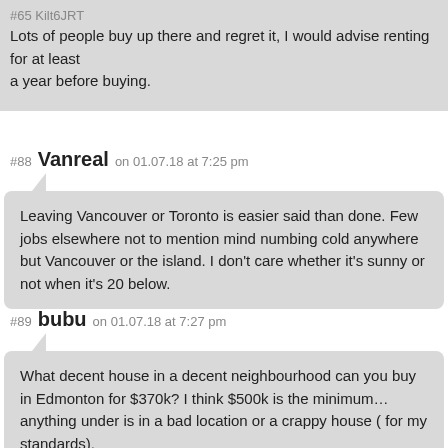#65 Kilt&#54JRT
Lots of people buy up there and regret it, I would advise renting for at least a year before buying.
#88 Vanreal on 01.07.18 at 7:25 pm
Leaving Vancouver or Toronto is easier said than done. Few jobs elsewhere not to mention mind numbing cold anywhere but Vancouver or the island. I don't care whether it's sunny or not when it's 20 below.
#89 bubu on 01.07.18 at 7:27 pm
What decent house in a decent neighbourhood can you buy in Edmonton for $370k? I think $500k is the minimum… anything under is in a bad location or a crappy house ( for my standards).
#90 Steven Rowlandson on 01.07.18 at 7:27 pm